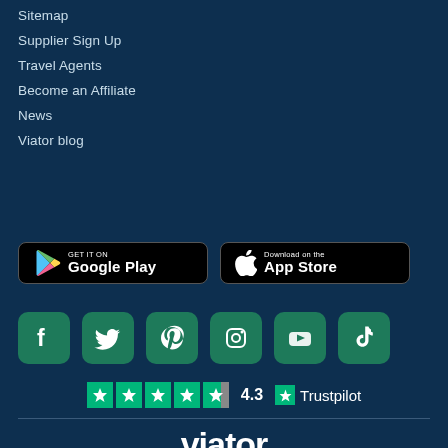Sitemap
Supplier Sign Up
Travel Agents
Become an Affiliate
News
Viator blog
[Figure (screenshot): Google Play and App Store download buttons]
[Figure (infographic): Social media icons: Facebook, Twitter, Pinterest, Instagram, YouTube, TikTok]
[Figure (infographic): Trustpilot rating: 4.3 stars]
[Figure (logo): Viator logo]